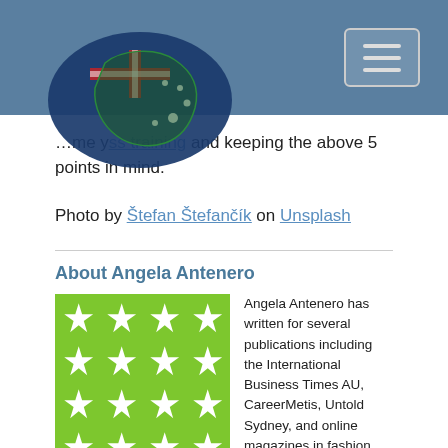Navigation header with Australian flag logo and hamburger menu
…me y… ss training and keeping the above 5 points in mind.
Photo by Štefan Štefančík on Unsplash
About Angela Antenero
[Figure (illustration): Green geometric star/snowflake pattern avatar for Angela Antenero]
Angela Antenero has written for several publications including the International Business Times AU, CareerMetis, Untold Sydney, and online magazines in fashion and music. She now a digital marketer at Sparro.
View all posts by Angela Antenero | Website
bottom navigation bar partially visible